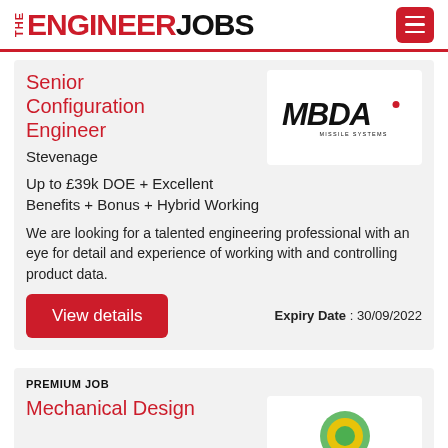THE ENGINEER JOBS
Senior Configuration Engineer
Stevenage
Up to £39k DOE + Excellent Benefits + Bonus + Hybrid Working
We are looking for a talented engineering professional with an eye for detail and experience of working with and controlling product data.
Expiry Date : 30/09/2022
View details
[Figure (logo): MBDA Missile Systems logo — bold italic black letters MBDA with a red dot, and MISSILE SYSTEMS in small caps below]
PREMIUM JOB
Mechanical Design